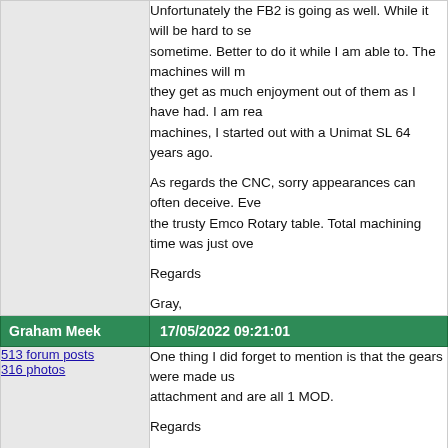Unfortunately the FB2 is going as well. While it will be hard to se... sometime. Better to do it while I am able to. The machines will m... they get as much enjoyment out of them as I have had. I am rea... machines, I started out with a Unimat SL 64 years ago.

As regards the CNC, sorry appearances can often deceive. Eve... the trusty Emco Rotary table. Total machining time was just ove...

Regards

Gray,
Graham Meek | 17/05/2022 09:21:01
513 forum posts
316 photos
One thing I did forget to mention is that the gears were made us... attachment and are all 1 MOD.

Regards

Gray,
Jouke van der Veen | 17/05/2022 14:38:18
181 forum posts
17 photos
Dear Graham,

Your design of the Emco C5 looks for me an interesting extensio...

What I not yet fully understand is the working of the engageme...

Another (surprising) question is if the chucks should be...